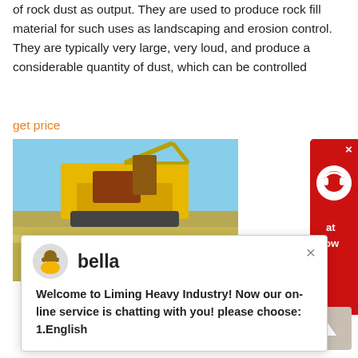of rock dust as output. They are used to produce rock fill material for such uses as landscaping and erosion control. They are typically very large, very loud, and produce a considerable quantity of dust, which can be controlled
get price
[Figure (photo): Photo of large yellow rock crusher machinery at a quarry site with blue sky background, dated 2010/09/23 15:14]
[Figure (screenshot): Chat popup with avatar of 'bella' and message: Welcome to Liming Heavy Industry! Now our on-line service is chatting with you! please choose: 1.English]
HOW TO MAKE A ROCK CRUSHER SANMECHINA
2020-10-9   The larger rock crusher can breaks down tons of rock and ore in one day while some strictly handheld rock crusher can only crush some small and soft materials. If you want to your own rock crusher, you should learn some welding